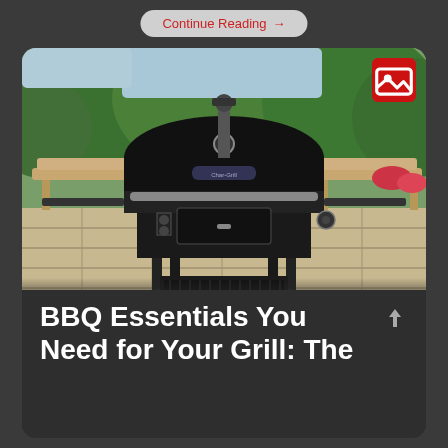Continue Reading →
[Figure (photo): A large black charcoal BBQ grill on wheels sitting on a stone patio surrounded by green trees and wooden benches, photographed outdoors.]
BBQ Essentials You Need for Your Grill: The Best Fire and Tric…